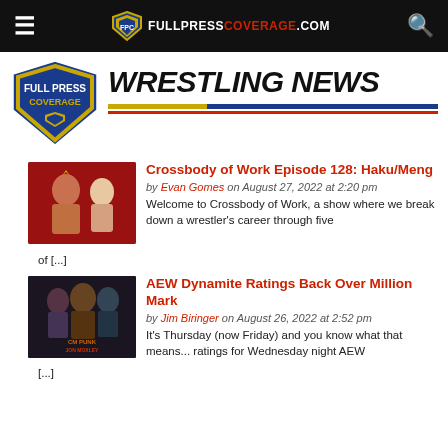FULLPRESSCOVERAGE.COM
WRESTLING NEWS
Crossbody of Work Episode 128: Haku/Meng by Evan Gomes on August 27, 2022 at 2:20 pm Welcome to Crossbody of Work, a show where we break down a wrestler's career through five of [...]
AEW Dynamite Ratings Back Over Million Mark by Jim Biringer on August 26, 2022 at 2:52 pm It's Thursday (now Friday) and you know what that means... ratings for Wednesday night AEW [...]